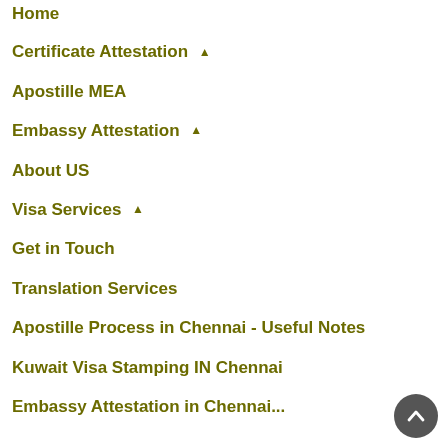Home
Certificate Attestation ▲
Apostille MEA
Embassy Attestation ▲
About US
Visa Services ▲
Get in Touch
Translation Services
Apostille Process in Chennai - Useful Notes
Kuwait Visa Stamping IN Chennai
Embassy Attestation in Chennai...